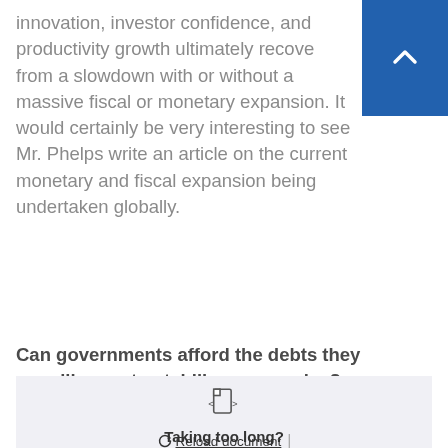innovation, investor confidence, and productivity growth ultimately recover from a slowdown with or without a massive fiscal or monetary expansion. It would certainly be very interesting to see Mr. Phelps write an article on the current monetary and fiscal expansion being undertaken globally.
[Figure (other): Blue button with upward chevron arrow in top-right corner]
Can governments afford the debts they are piling up to stabilise economies? Stephanie Kelton and Edward Chancellor
[Figure (other): Document loading widget showing a file icon with angle brackets, 'Taking too long?' text, and a 'Reload document' link with a refresh icon]
Taking too long?
Reload document